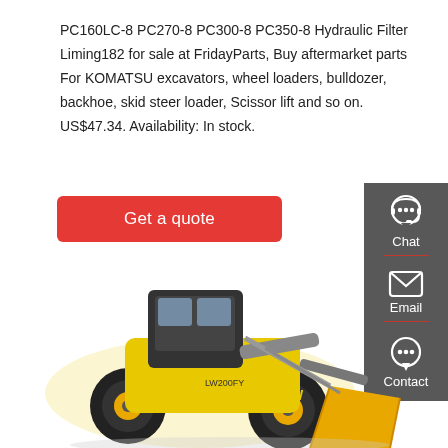PC160LC-8 PC270-8 PC300-8 PC350-8 Hydraulic Filter Liming182 for sale at FridayParts, Buy aftermarket parts For KOMATSU excavators, wheel loaders, bulldozer, backhoe, skid steer loader, Scissor lift and so on. US$47.34. Availability: In stock.
Get a quote
[Figure (infographic): Sidebar with Chat, Email, Contact icons on dark grey background]
[Figure (photo): Yellow and black wheel loader (skid steer type) with bucket, model LW200FY, on white background]